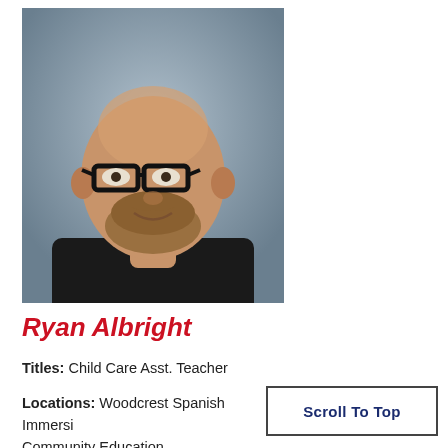[Figure (photo): Professional headshot of Ryan Albright, a bald man with a beard wearing glasses and a black jacket with an orange collar]
Ryan Albright
Titles: Child Care Asst. Teacher
Locations: Woodcrest Spanish Immersion Community Education
Scroll To Top